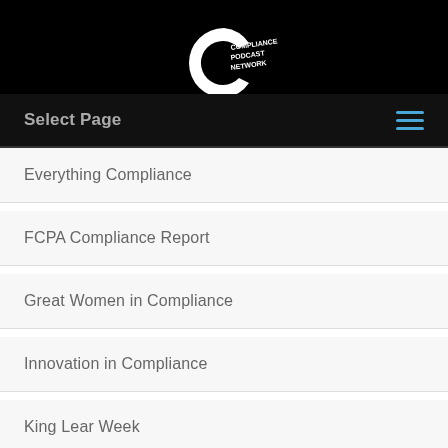[Figure (logo): Compliance Podcast Network logo — white letter C with text 'COMPLIANCE PODCAST NETWORK' on black background]
Select Page
Everything Compliance
FCPA Compliance Report
Great Women in Compliance
Innovation in Compliance
King Lear Week
Life with GDPR